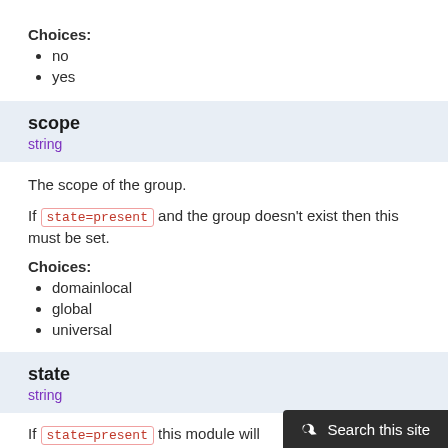Choices:
no
yes
scope
string
The scope of the group.
If state=present and the group doesn’t exist then this must be set.
Choices:
domainlocal
global
universal
state
string
If state=present this module will group is created and is configured accordingly.